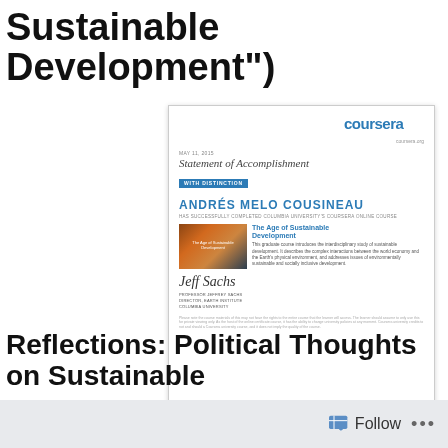Sustainable Development")
[Figure (illustration): Coursera Statement of Accomplishment certificate with distinction for Andrés Melo Cousineau for completing The Age of Sustainable Development course from Columbia University, signed by Professor Jeffrey Sachs, Director of Earth Institute.]
Reflections: Political Thoughts on Sustainable
Follow ...